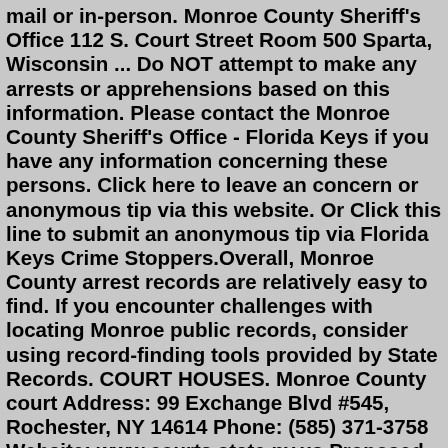mail or in-person. Monroe County Sheriff's Office 112 S. Court Street Room 500 Sparta, Wisconsin ... Do NOT attempt to make any arrests or apprehensions based on this information. Please contact the Monroe County Sheriff's Office - Florida Keys if you have any information concerning these persons. Click here to leave an concern or anonymous tip via this website. Or Click this line to submit an anonymous tip via Florida Keys Crime Stoppers.Overall, Monroe County arrest records are relatively easy to find. If you encounter challenges with locating Monroe public records, consider using record-finding tools provided by State Records. COURT HOUSES. Monroe County court Address: 99 Exchange Blvd #545, Rochester, NY 14614 Phone: (585) 371-3758 Website: www.courts.state.ny.us.Proposed Local Rules. The Indiana Supreme Court approves local court rules in only these areas: selection of special judges in civil and criminal cases, court reporter services, caseload allocation plans, and service as an acting judge in another court, county, or district. All other local court